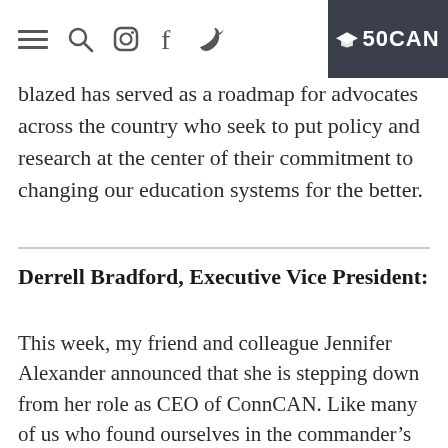[Navigation icons: hamburger menu, search, Instagram, Facebook, Twitter] | 50CAN logo
blazed has served as a roadmap for advocates across the country who seek to put policy and research at the center of their commitment to changing our education systems for the better.
Derrell Bradford, Executive Vice President:
This week, my friend and colleague Jennifer Alexander announced that she is stepping down from her role as CEO of ConnCAN. Like many of us who found ourselves in the commander’s chair, Jen started out in another role: working on the research & policy team. From there, she grew to take over the stewardship of one of the oldest and